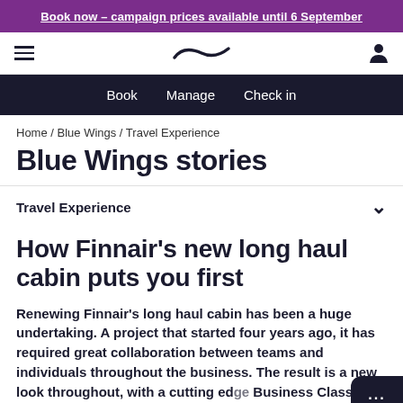Book now – campaign prices available until 6 September
[Figure (logo): Finnair logo and navigation icons (hamburger menu, Finnair stylized F logo, user icon)]
Book   Manage   Check in
Home / Blue Wings / Travel Experience
Blue Wings stories
Travel Experience
How Finnair's new long haul cabin puts you first
Renewing Finnair's long haul cabin has been a huge undertaking. A project that started four years ago, it has required great collaboration between teams and individuals throughout the business. The result is a new look throughout, with a cutting edge Business Class cabin featuring our unique Air Lounge seat, an a...